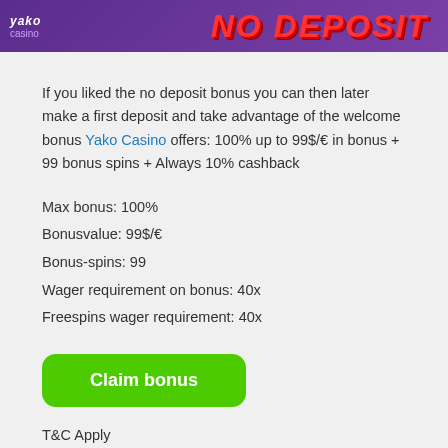[Figure (illustration): Yako Casino banner with purple gradient background, Yako Casino logo on the left and 'NO DEPOSIT' text in bold red italic on the right]
If you liked the no deposit bonus you can then later make a first deposit and take advantage of the welcome bonus Yako Casino offers: 100% up to 99$/€ in bonus + 99 bonus spins + Always 10% cashback
Max bonus: 100%
Bonusvalue: 99$/€
Bonus-spins: 99
Wager requirement on bonus: 40x
Freespins wager requirement: 40x
Claim bonus
T&C Apply